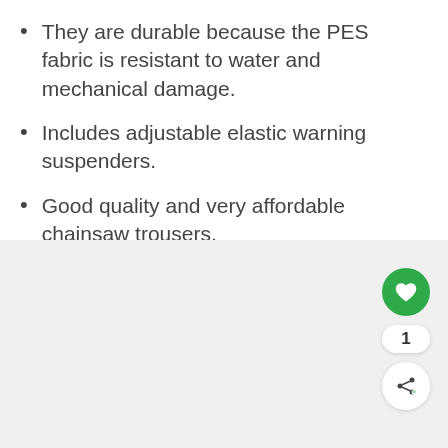They are durable because the PES fabric is resistant to water and mechanical damage.
Includes adjustable elastic warning suspenders.
Good quality and very affordable chainsaw trousers.